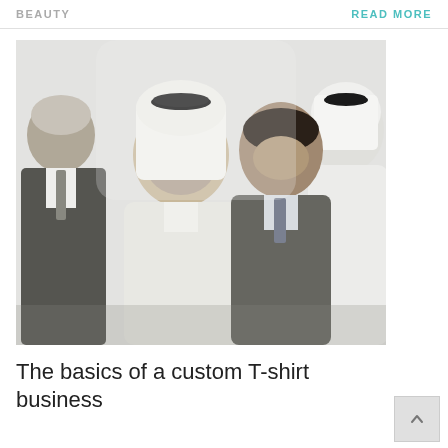BEAUTY
READ MORE
[Figure (photo): Business meeting scene with four people: one western businessman in a dark suit on the left shaking hands, and three Middle Eastern men in traditional white thobes and black agals, smiling and engaged in conversation.]
The basics of a custom T-shirt business